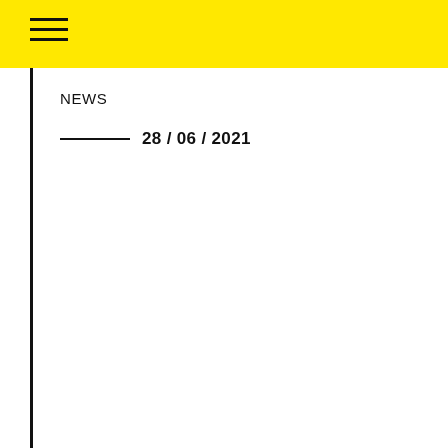≡ (hamburger menu icon)
NEWS
── 28 / 06 / 2021